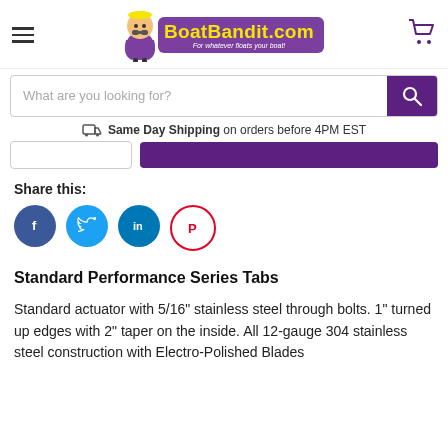[Figure (logo): BoatBandit.com logo with cartoon mascot character wearing purple cape, yellow text on purple background, tagline 'For whatever floats your boat!']
What are you looking for?
Same Day Shipping on orders before 4PM EST
Share this:
[Figure (infographic): Social media share icons: Facebook (blue circle with f), Twitter (cyan circle with bird), LinkedIn (teal circle with in), Pinterest (white/red circle with P)]
Standard Performance Series Tabs
Standard actuator with 5/16" stainless steel through bolts. 1" turned up edges with 2" taper on the inside. All 12-gauge 304 stainless steel construction with Electro-Polished Blades